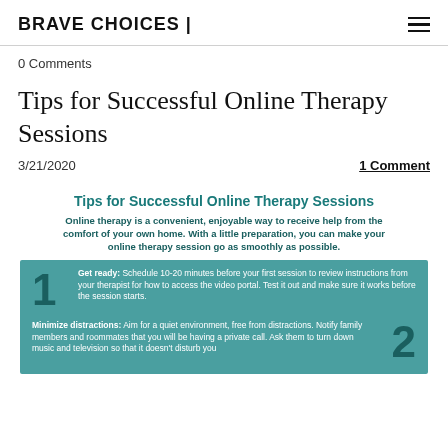BRAVE CHOICES |
0 Comments
Tips for Successful Online Therapy Sessions
3/21/2020  1 Comment
[Figure (infographic): Infographic titled 'Tips for Successful Online Therapy Sessions' with teal background. Tip 1: Get ready: Schedule 10-20 minutes before your first session to review instructions from your therapist for how to access the video portal. Test it out and make sure it works before the session starts. Tip 2: Minimize distractions: Aim for a quiet environment, free from distractions. Notify family members and roommates that you will be having a private call. Ask them to turn down music and television so that it doesn't disturb you.]